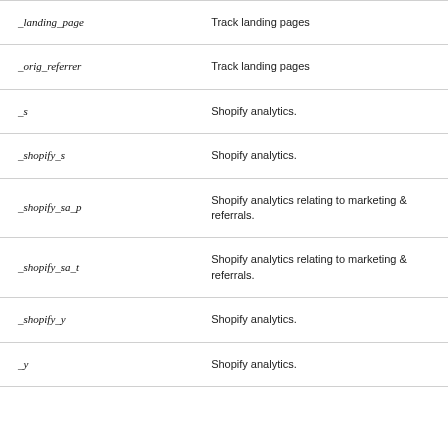| Name | Description |
| --- | --- |
| _landing_page | Track landing pages |
| _orig_referrer | Track landing pages |
| _s | Shopify analytics. |
| _shopify_s | Shopify analytics. |
| _shopify_sa_p | Shopify analytics relating to marketing & referrals. |
| _shopify_sa_t | Shopify analytics relating to marketing & referrals. |
| _shopify_y | Shopify analytics. |
| _y | Shopify analytics. |